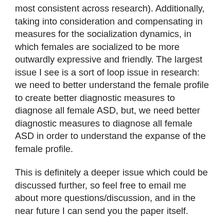most consistent across research). Additionally, taking into consideration and compensating in measures for the socialization dynamics, in which females are socialized to be more outwardly expressive and friendly. The largest issue I see is a sort of loop issue in research: we need to better understand the female profile to create better diagnostic measures to diagnose all female ASD, but, we need better diagnostic measures to diagnose all female ASD in order to understand the expanse of the female profile.
This is definitely a deeper issue which could be discussed further, so feel free to email me about more questions/discussion, and in the near future I can send you the paper itself.